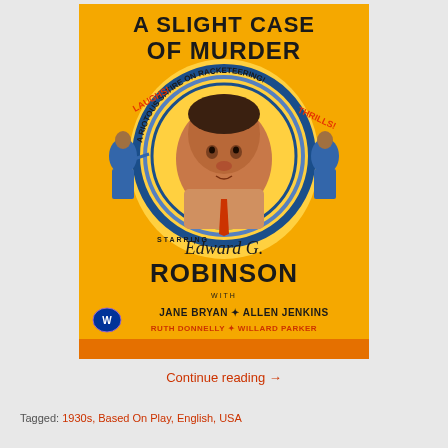[Figure (illustration): Vintage movie poster for 'A Slight Case of Murder' (1938). Yellow/orange background. Large bold black text at top reads 'A SLIGHT CASE OF MURDER'. Blue circular graphic contains portrait of actor. Text reads 'LAUGHS! A RIOTOUS SATIRE ON RACKETEERING! THRILLS!' Cursive and bold text: 'STARRING Edward G. ROBINSON'. With JANE BRYAN * ALLEN JENKINS, RUTH DONNELLY * WILLARD PARKER. Warner Bros logo visible.]
Continue reading →
Tagged: 1930s, Based On Play, English, USA